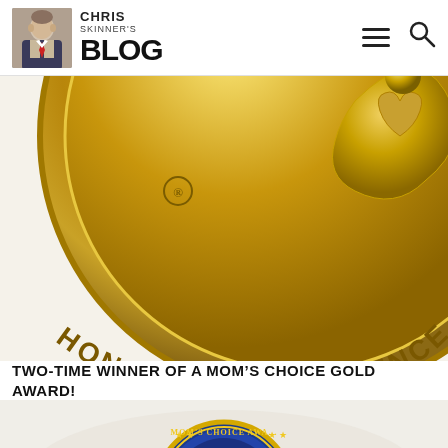Chris Skinner's Blog
[Figure (illustration): Large gold medal/seal with text 'HONORING EXCELLENCE' and a decorative heart/dove logo, cropped showing left and bottom portions of the circular medal on a light background]
TWO-TIME WINNER OF A MOM'S CHOICE GOLD AWARD!
[Figure (illustration): Mom's Choice Award blue and gold circular badge/seal, partially visible at bottom of page, showing text "Mom's Choice Awa..."]